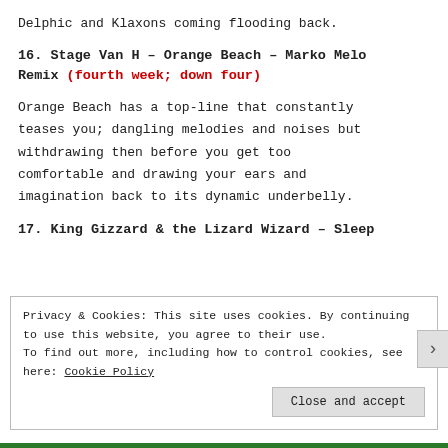Delphic and Klaxons coming flooding back.
16. Stage Van H – Orange Beach – Marko Melo Remix (fourth week; down four)
Orange Beach has a top-line that constantly teases you; dangling melodies and noises but withdrawing then before you get too comfortable and drawing your ears and imagination back to its dynamic underbelly.
17. King Gizzard & the Lizard Wizard – Sleep
Privacy & Cookies: This site uses cookies. By continuing to use this website, you agree to their use. To find out more, including how to control cookies, see here: Cookie Policy